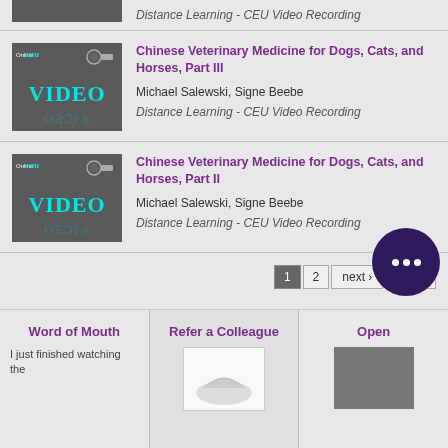Distance Learning - CEU Video Recording
[Figure (screenshot): Online CEU Video thumbnail with teal VIDEO text on dark background]
Chinese Veterinary Medicine for Dogs, Cats, and Horses, Part III
Michael Salewski, Signe Beebe
Distance Learning - CEU Video Recording
[Figure (screenshot): Online CEU Video thumbnail with teal VIDEO text on dark background]
Chinese Veterinary Medicine for Dogs, Cats, and Horses, Part II
Michael Salewski, Signe Beebe
Distance Learning - CEU Video Recording
1  2  next ›  last »
Word of Mouth
Refer a Colleague
Open
I just finished watching the